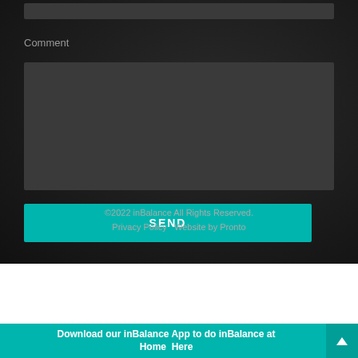Comment
SEND
©2022 inBalance All Rights Reserved.
Privacy Policy   Website by Pronto
Download our inBalance App to do inBalance at Home  Here